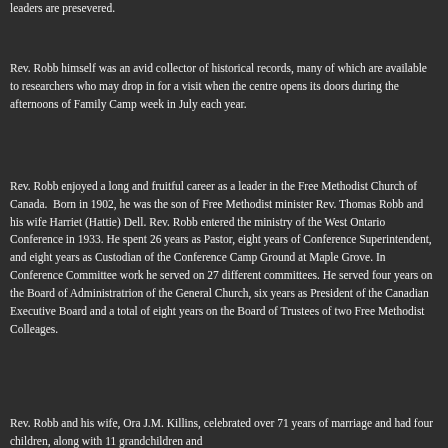leaders are presevered.
Rev. Robb himself was an avid collector of historical records, many of which are available to researchers who may drop in for a visit when the centre opens its doors during the afternoons of Family Camp week in July each year.
Rev. Robb enjoyed a long and fruitful career as a leader in the Free Methodist Church of Canada.  Born in 1902, he was the son of Free Methodist minister Rev. Thomas Robb and his wife Harriet (Hattie) Dell. Rev. Robb entered the ministry of the West Ontario Conference in 1933. He spent 26 years as Pastor, eight years of Conference Superintendent, and eight years as Custodian of the Conference Camp Ground at Maple Grove. In Conference Committee work he served on 27 different committees. He served four years on the Board of Administratrion of the General Church, six years as President of the Canadian Executive Board and a total of eight years on the Board of Trustees of two Free Methodist Colleages.
Rev. Robb and his wife, Ora J.M. Killins, celebrated over 71 years of marriage and had four children, along with 11 grandchildren and